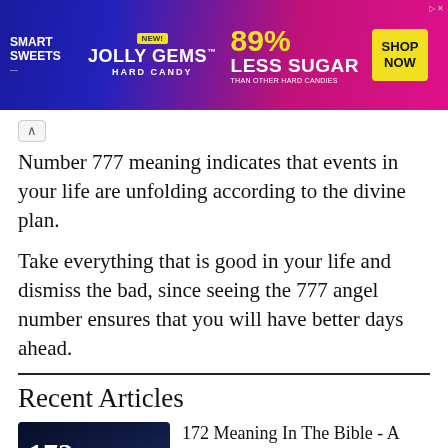[Figure (screenshot): Smart Sweets Jolly Gems Hard Candy advertisement banner. Blue and pink gradient background. Text: SMART SWEETS, NEW!, JOLLY GEMS HARD CANDY, 89% LESS SUGAR THAN OTHER HARD CANDIES, SHOP NOW button.]
Number 777 meaning indicates that events in your life are unfolding according to the divine plan.
Take everything that is good in your life and dismiss the bad, since seeing the 777 angel number ensures that you will have better days ahead.
Recent Articles
[Figure (photo): Thumbnail image for article '172 Meaning In The Bible - A Symbol Of Spiritual Growth And Abundance'. Dark blue mystical background with glowing book, large text '172' and cursive text 'Meaning In The Bible'.]
172 Meaning In The Bible - A Symbol Of Spiritual Growth And Abundance
Last Updated Aug 03, 2022